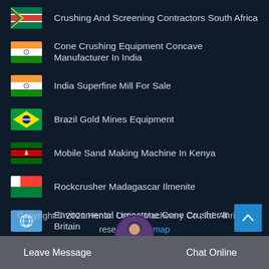Crushing And Screening Contractors South Africa
Cone Crushing Equipment Concave Manufacturer In India
India Superfine Mill For Sale
Brazil Gold Mines Equipment
Mobile Sand Making Machine In Kenya
Rockcrusher Madagascar Ilmenite
Environmental Limestone Cone Crusher In Britain
Copyright © 2021.Henan Ostion Machinery Co., ltd. All rights reserved. Sitemap
Leave Message
Chat Online